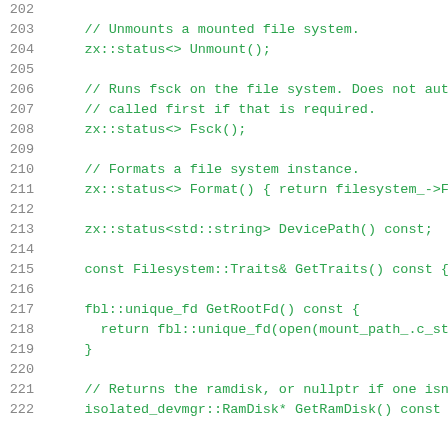Source code listing lines 202-222 showing C++ filesystem class methods including Unmount(), Fsck(), Format(), DevicePath(), GetTraits(), GetRootFd(), and GetRamDisk()